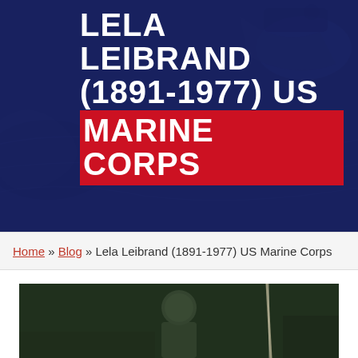LELA LEIBRAND (1891-1977) US MARINE CORPS
Home » Blog » Lela Leibrand (1891-1977) US Marine Corps
[Figure (photo): Historical photograph of Lela Leibrand, partially visible, dark green toned background with a vertical light streak]